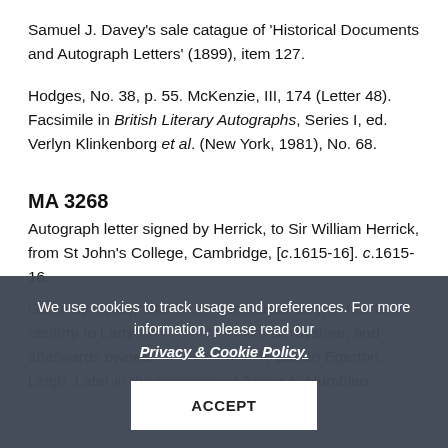Samuel J. Davey's sale catague of 'Historical Documents and Autograph Letters' (1899), item 127.
Hodges, No. 38, p. 55. McKenzie, III, 174 (Letter 48). Facsimile in British Literary Autographs, Series I, ed. Verlyn Klinkenborg et al. (New York, 1981), No. 68.
MA 3268
Autograph letter signed by Herrick, to Sir William Herrick, from St John's College, Cambridge, [c.1615-16]. c.1615-16.
Given by a proprietor of ex-admiranda cary, in the 19th century to Lady S... Derbyshire, and afterwards owned by Meywarisson, Canon Egerton, Leigh. Later in the collection of Artour A. Humbleo...
We use cookies to track usage and preferences. For more information, please read our Privacy & Cookie Policy.